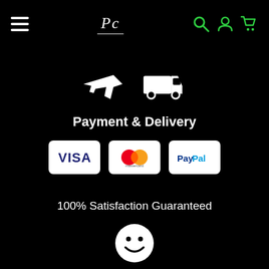Navigation header with hamburger menu, PC logo, search, account, and cart icons
[Figure (illustration): Airplane and delivery truck icons representing shipping/delivery]
Payment & Delivery
[Figure (illustration): Payment method logos: VISA, Mastercard, PayPal]
100% Satisfaction Guaranteed
[Figure (illustration): Smiley face icon representing satisfaction guarantee]